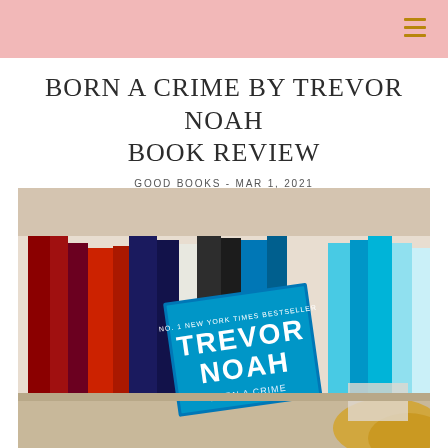BORN A CRIME BY TREVOR NOAH BOOK REVIEW
GOOD BOOKS - MAR 1, 2021
[Figure (photo): Photo of a bookshelf with various books, with a teal/blue colored Trevor Noah 'Born a Crime' New York Times Bestseller book prominently displayed in the foreground, along with other colorful books including red, dark blue, and teal spines. A person's blonde hair is partially visible.]